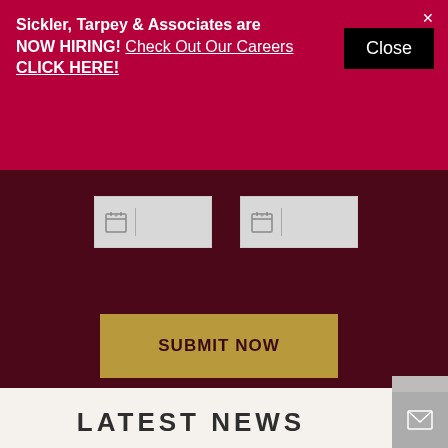Sickler, Tarpey & Associates are NOW HIRING! Check Out Our Careers CLICK HERE!
Close
[Figure (screenshot): Two date picker input fields with calendar icons on dark maroon background]
SUBMIT NOW
LATEST NEWS